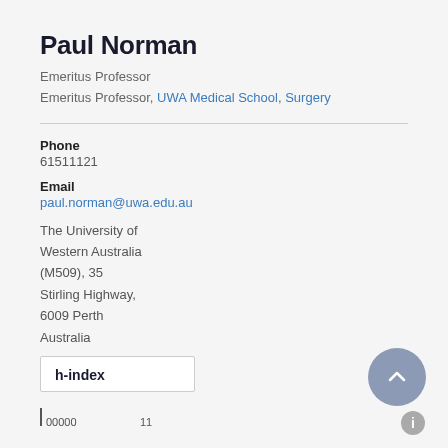Paul Norman
Emeritus Professor
Emeritus Professor, UWA Medical School, Surgery
Phone
61511121
Email
paul.norman@uwa.edu.au
The University of Western Australia (M509), 35 Stirling Highway, 6009 Perth Australia
h-index